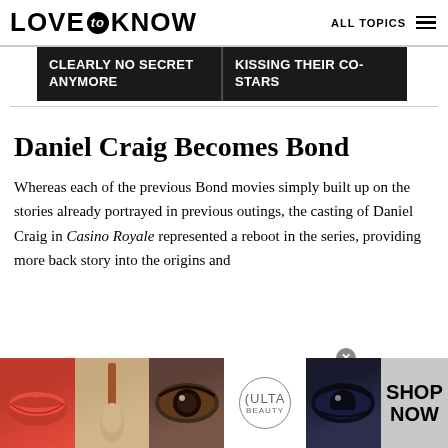LOVE to KNOW   ALL TOPICS
[Figure (screenshot): Dark navigation banner with two items: 'CLEARLY NO SECRET ANYMORE' and 'KISSING THEIR CO-STARS']
Daniel Craig Becomes Bond
Whereas each of the previous Bond movies simply built up on the stories already portrayed in previous outings, the casting of Daniel Craig in Casino Royale represented a reboot in the series, providing more back story into the origins and
[Figure (photo): Bottom advertisement banner for ULTA beauty with makeup images and 'SHOP NOW' text]